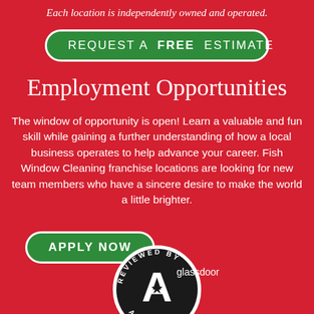Each location is independently owned and operated.
REQUEST A FREE ESTIMATE
Employment Opportunities
The window of opportunity is open! Learn a valuable and fun skill while gaining a further understanding of how a local business operates to help advance your career. Fish Window Cleaning franchise locations are looking for new team members who have a sincere desire to make the world a little brighter.
APPLY NOW
[Figure (logo): Reviewed By badge - circular black and white badge with 'REVIEWED BY' text around edge and large 'A' with star in center]